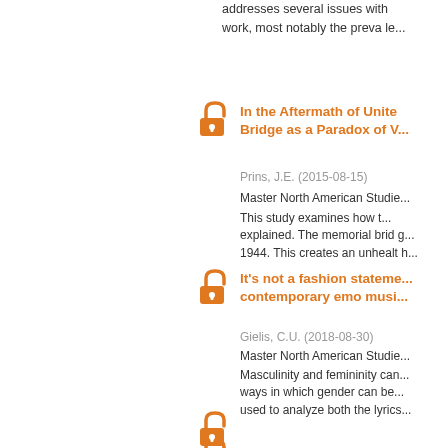addresses several issues with work, most notably the preva le...
[Figure (logo): Open access orange lock icon for first entry]
In the Aftermath of Unite Bridge as a Paradox of V...
Prins, J.E. (2015-08-15)
Master North American Studie...
This study examines how t... explained. The memorial brid g... 1944. This creates an unhealt h...
[Figure (logo): Open access orange lock icon for second entry]
It's not a fashion stateme... contemporary emo musi...
Gielis, C.U. (2018-08-30)
Master North American Studie...
Masculinity and femininity can... ways in which gender can be... used to analyze both the lyrics...
[Figure (logo): Open access orange lock icon for third entry]
"Ladies, Now Let's Get i... Empowerment, and Fem...
Veerman, MD (2017-03-08)
Master North American Studie...
This thesis examines the mes...